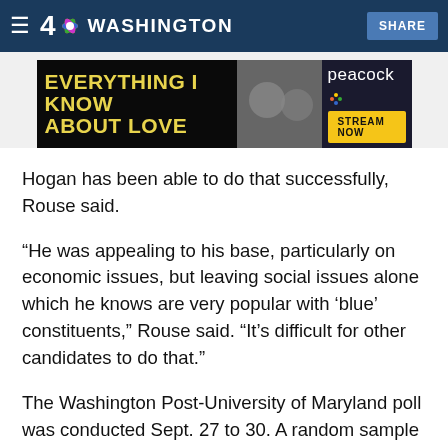NBC4 Washington — SHARE
[Figure (screenshot): Advertisement banner for Peacock streaming — 'Everything I Know About Love' with Stream Now button]
Hogan has been able to do that successfully, Rouse said.
“He was appealing to his base, particularly on economic issues, but leaving social issues alone which he knows are very popular with ‘blue’ constituents,” Rouse said. “It’s difficult for other candidates to do that.”
The Washington Post-University of Maryland poll was conducted Sept. 27 to 30. A random sample of 906 Maryland adults contacted on cellphones and landlines participated in the survey. The margin of error is plus or minus 3.5